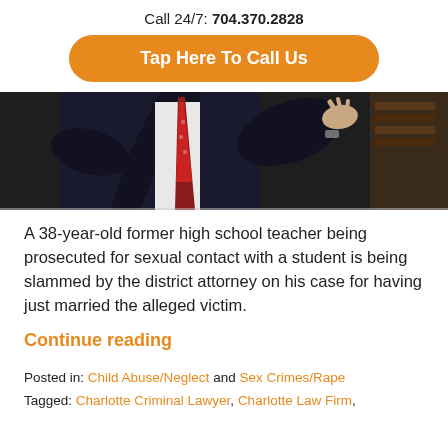Call 24/7: 704.370.2828
Tap Here To Call Us
[Figure (photo): A man in a dark suit with a red tie gesturing with his hands, photographed from the torso up in an office setting.]
A 38-year-old former high school teacher being prosecuted for sexual contact with a student is being slammed by the district attorney on his case for having just married the alleged victim.
Continue reading
Posted in: Child Abuse/Neglect and Sex Crimes/Rape
Tagged: Charlotte Criminal Lawyer, Charlotte Law Firm,